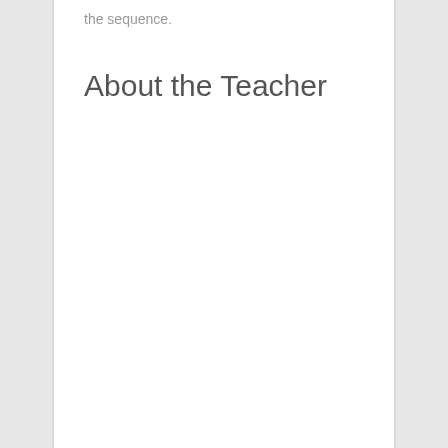the sequence.
About the Teacher